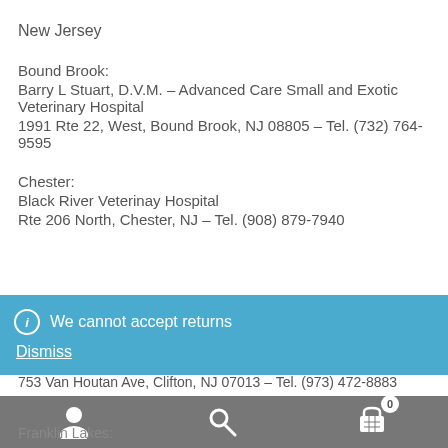New Jersey
Bound Brook:
Barry L Stuart, D.V.M. – Advanced Care Small and Exotic Veterinary Hospital
1991 Rte 22, West, Bound Brook, NJ 08805 – Tel. (732) 764-9595
Chester:
Black River Veterinay Hospital
Rte 206 North, Chester, NJ – Tel. (908) 879-7940
[Figure (screenshot): Blue notification bar with info icon, text 'We cannot accept returns' and a 'Dismiss' link]
753 Van Houtan Ave, Clifton, NJ 07013 – Tel. (973) 472-8883
Franklin Lakes: